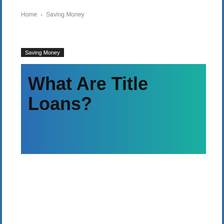Home › Saving Money
Saving Money
What Are Title Loans?